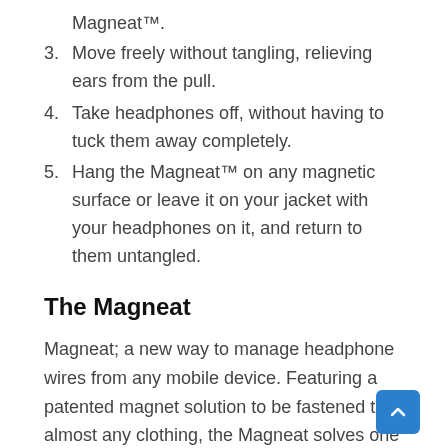Magneat™.
3. Move freely without tangling, relieving ears from the pull.
4. Take headphones off, without having to tuck them away completely.
5. Hang the Magneat™ on any magnetic surface or leave it on your jacket with your headphones on it, and return to them untangled.
The Magneat
Magneat; a new way to manage headphone wires from any mobile device. Featuring a patented magnet solution to be fastened to almost any clothing, the Magneat solves one of the most annoying elements of